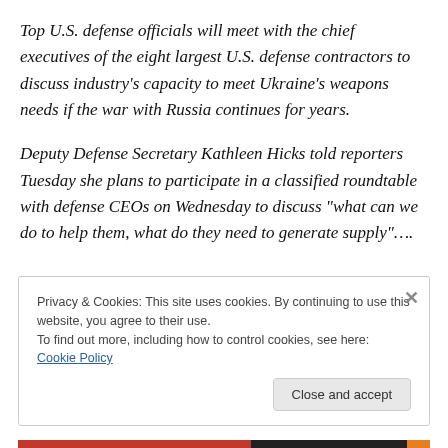Top U.S. defense officials will meet with the chief executives of the eight largest U.S. defense contractors to discuss industry's capacity to meet Ukraine's weapons needs if the war with Russia continues for years.
Deputy Defense Secretary Kathleen Hicks told reporters Tuesday she plans to participate in a classified roundtable with defense CEOs on Wednesday to discuss "what can we do to help them, what do they need to generate supply"….
Privacy & Cookies: This site uses cookies. By continuing to use this website, you agree to their use.
To find out more, including how to control cookies, see here: Cookie Policy